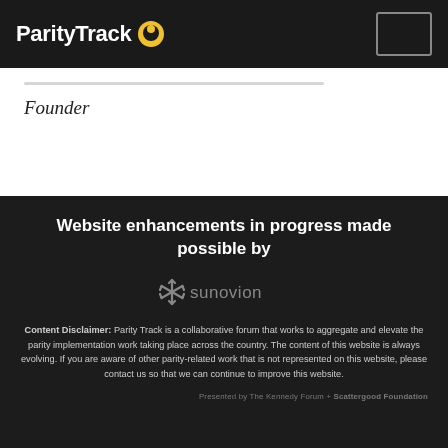ParityTrack
Founder
Website enhancements in progress made possible by
[Figure (logo): Sunovion logo with stylized asterisk/snowflake icon in gray and the word 'sunovion' in gray text]
Content Disclaimer: Parity Track is a collaborative forum that works to aggregate and elevate the parity implementation work taking place across the country. The content of this website is always evolving. If you are aware of other parity-related work that is not represented on this website, please contact us so that we can continue to improve this website.
Presented by The Kennedy Forum + Scattergood Foundation